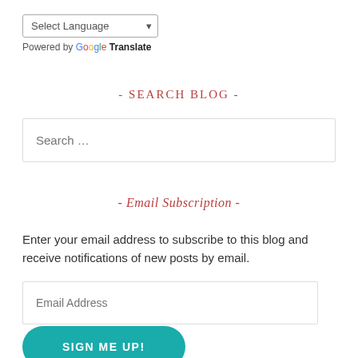[Figure (screenshot): Language selector dropdown widget showing 'Select Language' with a dropdown arrow]
Powered by Google Translate
- SEARCH BLOG -
[Figure (screenshot): Search input box with placeholder text 'Search ...']
- Email Subscription -
Enter your email address to subscribe to this blog and receive notifications of new posts by email.
[Figure (screenshot): Email address input field with placeholder 'Email Address']
[Figure (screenshot): Teal rounded button labeled 'SIGN ME UP!']